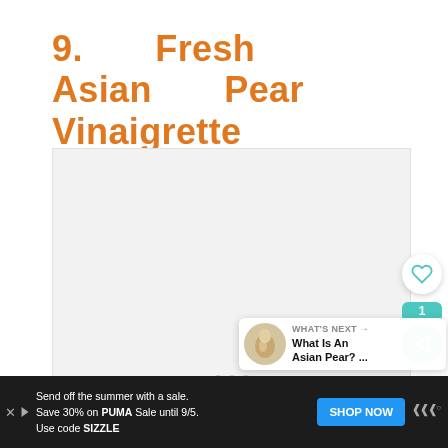9.  Fresh  Asian  Pear  Vinaigrette
[Figure (photo): Light gray placeholder image area for Fresh Asian Pear Vinaigrette recipe photo, with three dot navigation indicators at the bottom center.]
WHAT'S NEXT → What Is An Asian Pear? ...
Send off the summer with a sale. Save 30% on PUMA Sale until 9/5. Use code SIZZLE